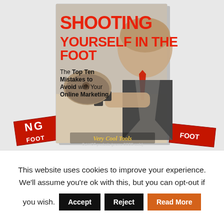[Figure (illustration): Book cover for 'Shooting Yourself in the Foot: The Top Ten Mistakes to Avoid with Your Online Marketing' by Very Cool Tools, showing a businessman pointing a gun at his own foot, with stacked copies of the book in the background.]
This website uses cookies to improve your experience. We'll assume you're ok with this, but you can opt-out if you wish. [Accept] [Reject] [Read More]